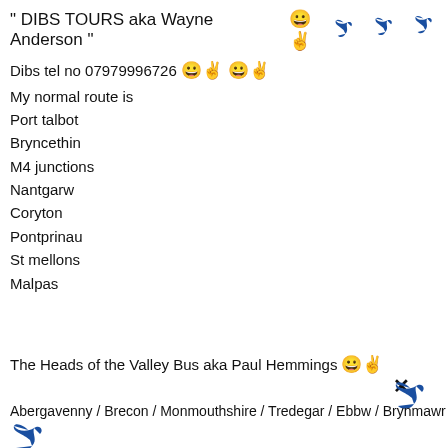" DIBS TOURS aka Wayne Anderson "  🙂  🐦  🐦  🐦
Dibs tel no 07979996726 🙂 🙂
My normal route is
Port talbot
Bryncethin
M4 junctions
Nantgarw
Coryton
Pontprinau
St mellons
Malpas
The Heads of the Valley Bus aka Paul Hemmings 🙂
×
Abergavenny / Brecon / Monmouthshire / Tredegar / Ebbw / Brynmawr